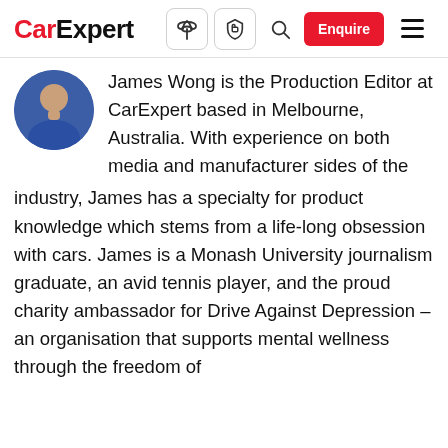CarExpert — navigation bar with logo, icons, Enquire button, and menu
[Figure (photo): Circular avatar photo of James Wong, a man in a blue shirt, cropped to a circle]
James Wong is the Production Editor at CarExpert based in Melbourne, Australia. With experience on both media and manufacturer sides of the industry, James has a specialty for product knowledge which stems from a life-long obsession with cars. James is a Monash University journalism graduate, an avid tennis player, and the proud charity ambassador for Drive Against Depression – an organisation that supports mental wellness through the freedom of